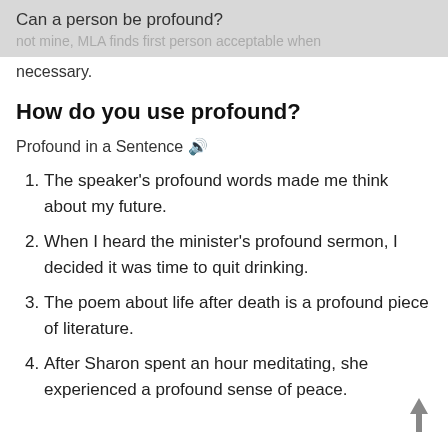Can a person be profound?
not mine, MLA finds first person acceptable when necessary.
How do you use profound?
Profound in a Sentence 🔊
The speaker's profound words made me think about my future.
When I heard the minister's profound sermon, I decided it was time to quit drinking.
The poem about life after death is a profound piece of literature.
After Sharon spent an hour meditating, she experienced a profound sense of peace.